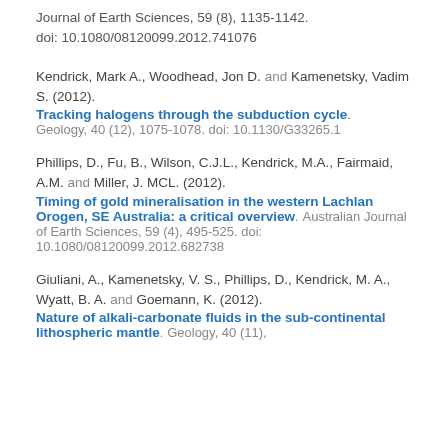Journal of Earth Sciences, 59 (8), 1135-1142. doi: 10.1080/08120099.2012.741076
Kendrick, Mark A., Woodhead, Jon D. and Kamenetsky, Vadim S. (2012). Tracking halogens through the subduction cycle. Geology, 40 (12), 1075-1078. doi: 10.1130/G33265.1
Phillips, D., Fu, B., Wilson, C.J.L., Kendrick, M.A., Fairmaid, A.M. and Miller, J. MCL. (2012). Timing of gold mineralisation in the western Lachlan Orogen, SE Australia: a critical overview. Australian Journal of Earth Sciences, 59 (4), 495-525. doi: 10.1080/08120099.2012.682738
Giuliani, A., Kamenetsky, V. S., Phillips, D., Kendrick, M. A., Wyatt, B. A. and Goemann, K. (2012). Nature of alkali-carbonate fluids in the sub-continental lithospheric mantle. Geology, 40 (11),